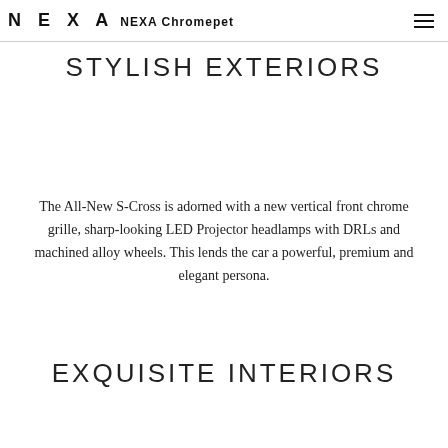NEXA NEXA Chromepet
STYLISH EXTERIORS
The All-New S-Cross is adorned with a new vertical front chrome grille, sharp-looking LED Projector headlamps with DRLs and machined alloy wheels. This lends the car a powerful, premium and elegant persona.
EXQUISITE INTERIORS